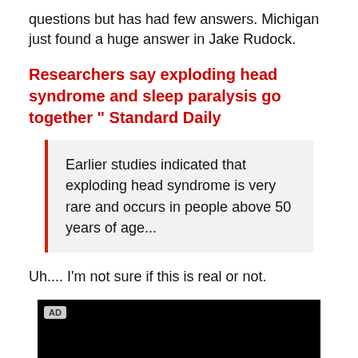questions but has had few answers. Michigan just found a huge answer in Jake Rudock.
Researchers say exploding head syndrome and sleep paralysis go together " Standard Daily
Earlier studies indicated that exploding head syndrome is very rare and occurs in people above 50 years of age...
Uh.... I'm not sure if this is real or not.
[Figure (other): Black video ad player with AD badge in top-left corner]